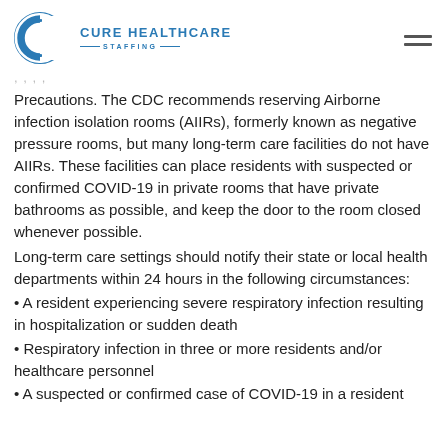Cure Healthcare Staffing
Precautions. The CDC recommends reserving Airborne infection isolation rooms (AIIRs), formerly known as negative pressure rooms, but many long-term care facilities do not have AIIRs. These facilities can place residents with suspected or confirmed COVID-19 in private rooms that have private bathrooms as possible, and keep the door to the room closed whenever possible.
Long-term care settings should notify their state or local health departments within 24 hours in the following circumstances:
• A resident experiencing severe respiratory infection resulting in hospitalization or sudden death
• Respiratory infection in three or more residents and/or healthcare personnel
• A suspected or confirmed case of COVID-19 in a resident